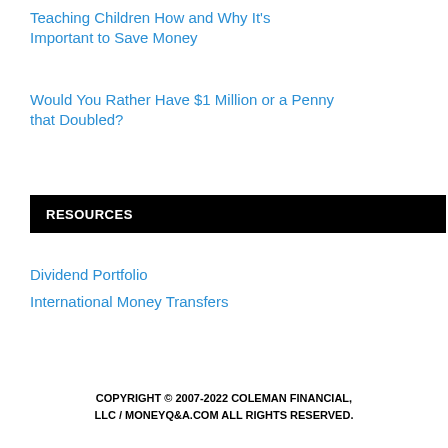Teaching Children How and Why It’s Important to Save Money
Would You Rather Have $1 Million or a Penny that Doubled?
RESOURCES
Dividend Portfolio
International Money Transfers
COPYRIGHT © 2007-2022 COLEMAN FINANCIAL, LLC / MONEYQ&A.COM ALL RIGHTS RESERVED.